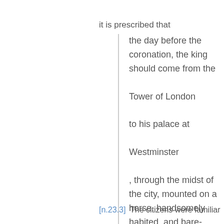it is prescribed that
the day before the coronation, the king should come from the Tower of London to his palace at Westminster , through the midst of the city, mounted on a horse, handsomely habited, and bare-headed, in the sight of all the people.
[n.23.3]  The citizens were familiar